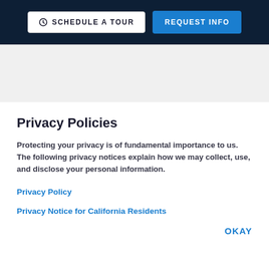SCHEDULE A TOUR | REQUEST INFO
Privacy Policies
Protecting your privacy is of fundamental importance to us. The following privacy notices explain how we may collect, use, and disclose your personal information.
Privacy Policy
Privacy Notice for California Residents
OKAY